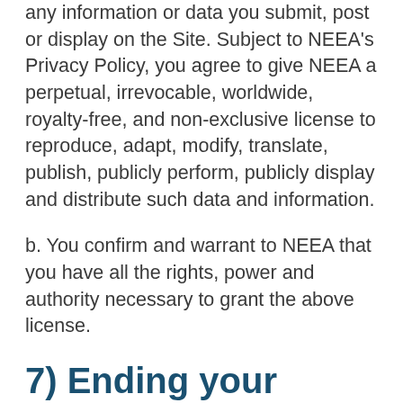any information or data you submit, post or display on the Site. Subject to NEEA's Privacy Policy, you agree to give NEEA a perpetual, irrevocable, worldwide, royalty-free, and non-exclusive license to reproduce, adapt, modify, translate, publish, publicly perform, publicly display and distribute such data and information.
b. You confirm and warrant to NEEA that you have all the rights, power and authority necessary to grant the above license.
7) Ending your relationship with NEEA